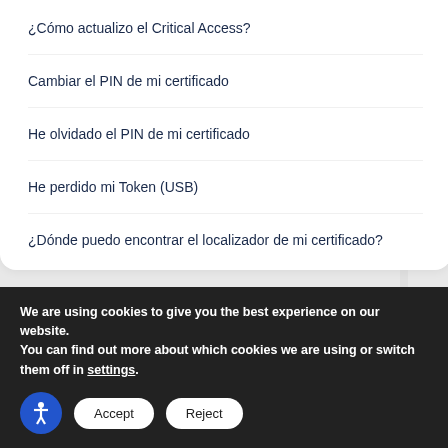¿Cómo actualizo el Critical Access?
Cambiar el PIN de mi certificado
He olvidado el PIN de mi certificado
He perdido mi Token (USB)
¿Dónde puedo encontrar el localizador de mi certificado?
Renovar Certificado
We are using cookies to give you the best experience on our website.
You can find out more about which cookies we are using or switch them off in settings.
Accept
Reject